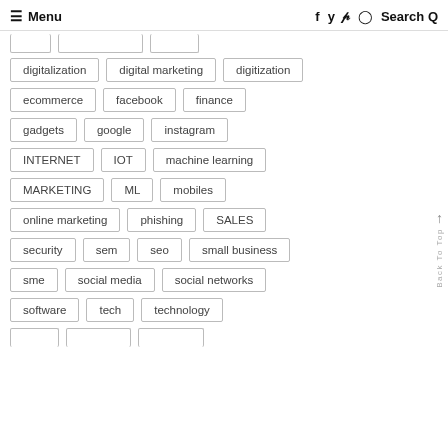≡ Menu   f  y  p  ⊙  Search Q
digitalization
digital marketing
digitization
ecommerce
facebook
finance
gadgets
google
instagram
INTERNET
IOT
machine learning
MARKETING
ML
mobiles
online marketing
phishing
SALES
security
sem
seo
small business
sme
social media
social networks
software
tech
technology